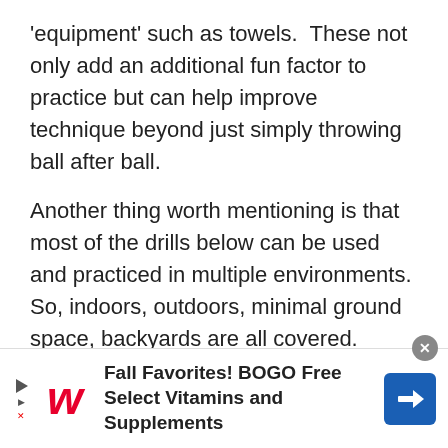'equipment' such as towels.  These not only add an additional fun factor to practice but can help improve technique beyond just simply throwing ball after ball.

Another thing worth mentioning is that most of the drills below can be used and practiced in multiple environments. So, indoors, outdoors, minimal ground space, backyards are all covered.

In fact, sometimes you can actually use your
[Figure (other): Walgreens advertisement banner: Fall Favorites! BOGO Free Select Vitamins and Supplements, with Walgreens logo and navigation arrow icon]